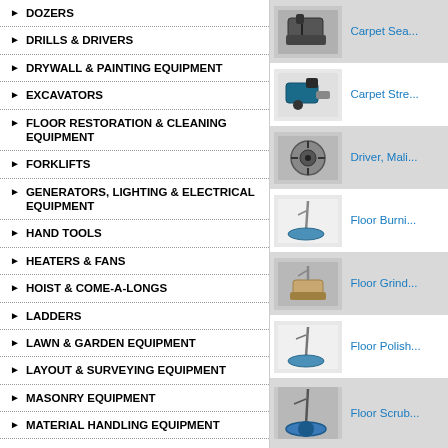DOZERS
DRILLS & DRIVERS
DRYWALL & PAINTING EQUIPMENT
EXCAVATORS
FLOOR RESTORATION & CLEANING EQUIPMENT
FORKLIFTS
GENERATORS, LIGHTING & ELECTRICAL EQUIPMENT
HAND TOOLS
HEATERS & FANS
HOIST & COME-A-LONGS
LADDERS
LAWN & GARDEN EQUIPMENT
LAYOUT & SURVEYING EQUIPMENT
MASONRY EQUIPMENT
MATERIAL HANDLING EQUIPMENT
MECHANIC'S TOOLS
METAL WORKING & WELDING
[Figure (photo): Carpet Seaming tool photo]
Carpet Sea...
[Figure (photo): Carpet Stretcher tool photo]
Carpet Stre...
[Figure (photo): Driver, Mallet type tool photo]
Driver, Mali...
[Figure (photo): Floor Burnisher photo]
Floor Burni...
[Figure (photo): Floor Grinder photo]
Floor Grind...
[Figure (photo): Floor Polisher photo]
Floor Polish...
[Figure (photo): Floor Scrubber photo]
Floor Scrub...